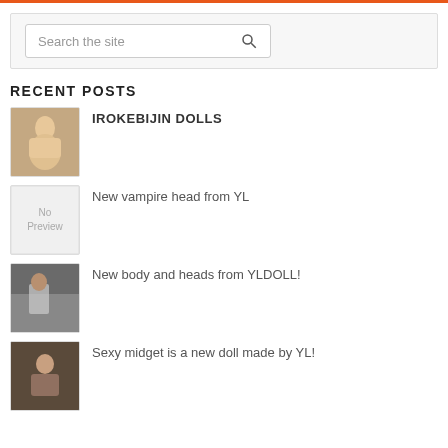[Figure (other): Orange horizontal divider bar]
[Figure (screenshot): Search box with placeholder text 'Search the site' and magnifying glass icon]
RECENT POSTS
[Figure (photo): Thumbnail photo for IROKEBIJIN DOLLS post]
IROKEBIJIN DOLLS
[Figure (other): No Preview placeholder image]
New vampire head from YL
[Figure (photo): Thumbnail photo for New body and heads from YLDOLL post]
New body and heads from YLDOLL!
[Figure (photo): Thumbnail photo for Sexy midget is a new doll made by YL post]
Sexy midget is a new doll made by YL!